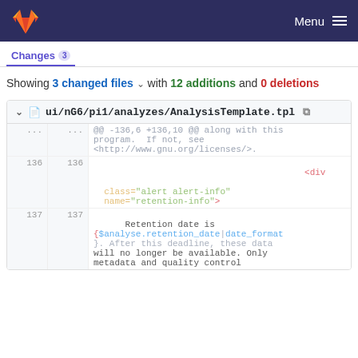Menu
Showing 3 changed files with 12 additions and 0 deletions
ui/nG6/pi1/analyzes/AnalysisTemplate.tpl
@@ -136,6 +136,10 @@ along with this program. If not, see <http://www.gnu.org/licenses/>.
136 136
<div
 class="alert alert-info"
name="retention-info">
137 137
Retention date is
{$analyse.retention_date|date_format}. After this deadline, these data will no longer be available. Only metadata and quality control